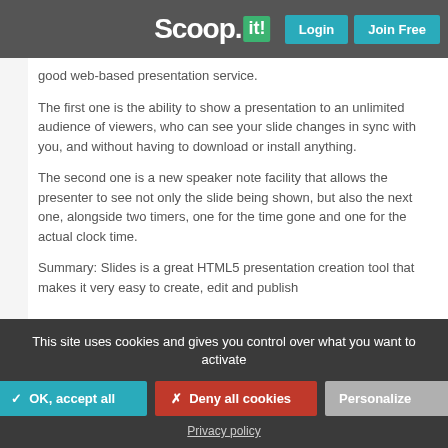Scoop.it! | Login | Join Free
good web-based presentation service.
The first one is the ability to show a presentation to an unlimited audience of viewers, who can see your slide changes in sync with you, and without having to download or install anything.
The second one is a new speaker note facility that allows the presenter to see not only the slide being shown, but also the next one, alongside two timers, one for the time gone and one for the actual clock time.
Summary: Slides is a great HTML5 presentation creation tool that makes it very easy to create, edit and publish
This site uses cookies and gives you control over what you want to activate
✓ OK, accept all
✗ Deny all cookies
Personalize
Privacy policy